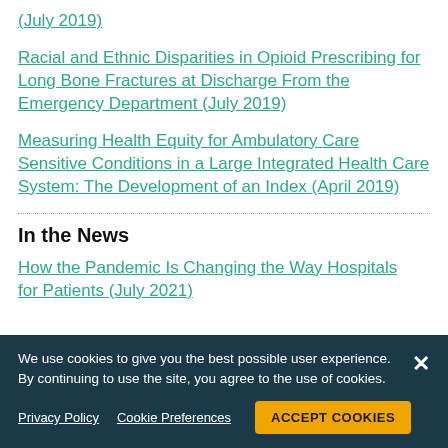(July 2019)
Racial and Ethnic Disparities in Opioid Prescribing for Long Bone Fractures at Discharge From the Emergency Department (July 2019)
Measuring Health Equity for Ambulatory Care Sensitive Conditions in a Large Integrated Health Care System: The Development of an Index (April 2019)
In the News
How the Pandemic Is Changing the Way Hospitals Care for Patients (July 2021)
We use cookies to give you the best possible user experience. By continuing to use the site, you agree to the use of cookies.
Privacy Policy   Cookie Preferences   ACCEPT COOKIES